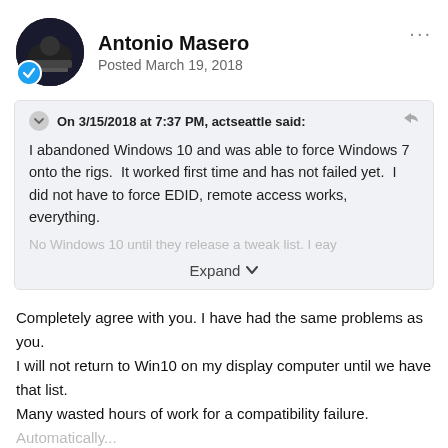Antonio Masero
Posted March 19, 2018
On 3/15/2018 at 7:37 PM, actseattle said:
I abandoned Windows 10 and was able to force Windows 7 onto the rigs.  It worked first time and has not failed yet.  I did not have to force EDID, remote access works, everything.
No Windows 10 until they release a tweak list. I ea...
Expand
Completely agree with you. I have had the same problems as you.
I will not return to Win10 on my display computer until we have that list.
Many wasted hours of work for a compatibility failure.
Automatically...